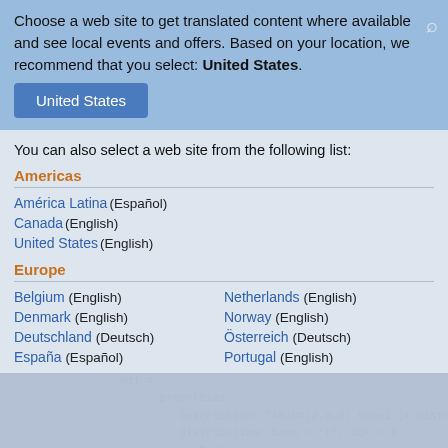Choose a web site to get translated content where available and see local events and offers. Based on your location, we recommend that you select: United States.
United States
You can also select a web site from the following list:
Americas
América Latina (Español)
Canada (English)
United States (English)
Europe
Belgium (English)
Netherlands (English)
Denmark (English)
Norway (English)
Deutschland (Deutsch)
Österreich (Deutsch)
España (Español)
Portugal (English)